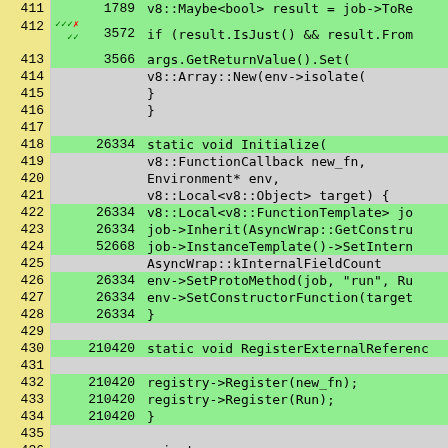[Figure (screenshot): Code coverage viewer showing C++ source lines 411-436 with line numbers in yellow column, hit counts in gray column, and covered code highlighted in green. Lines 411-417 show result/ToRe and if/result.IsJust branches. Lines 418-428 show static void Initialize() function. Lines 430-434 show static void RegisterExternalReferenc and registry->Register calls. Line 436 shows 'private:'.]